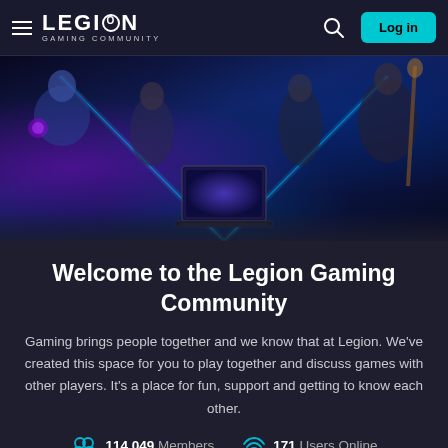≡ LEGION GAMING COMMUNITY  🔍  Log in
[Figure (photo): Hero banner showing gaming characters (fantasy woman, human female, male gamer, tattooed warrior) with a Lenovo Legion laptop in center, dark blue background with light beams forming a V shape]
Welcome to the Legion Gaming Community
Gaming brings people together and we know that at Legion. We've created this space for you to play together and discuss games with other players. It's a place for fun, support and getting to know each other.
114,049 Members   171 Users Online
78,868 Posts